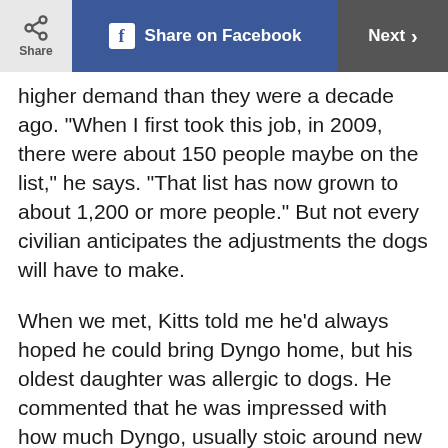Share | Share on Facebook | Next >
higher demand than they were a decade ago. "When I first took this job, in 2009, there were about 150 people maybe on the list," he says. "That list has now grown to about 1,200 or more people." But not every civilian anticipates the adjustments the dogs will have to make.
When we met, Kitts told me he'd always hoped he could bring Dyngo home, but his oldest daughter was allergic to dogs. He commented that he was impressed with how much Dyngo, usually stoic around new people, seemed to like me. When he laid his head in my lap, I felt the tug of love. Kitts asked whether I would